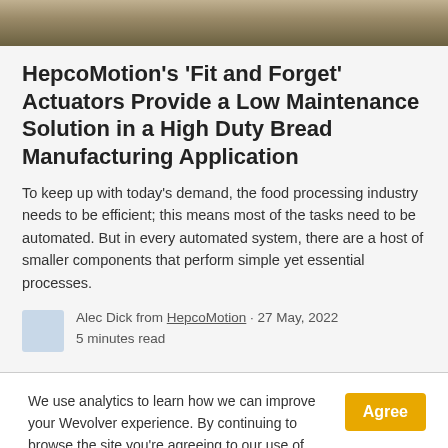[Figure (photo): Cropped photo strip showing a bread manufacturing or industrial scene with warm brown/golden tones]
HepcoMotion's 'Fit and Forget' Actuators Provide a Low Maintenance Solution in a High Duty Bread Manufacturing Application
To keep up with today's demand, the food processing industry needs to be efficient; this means most of the tasks need to be automated. But in every automated system, there are a host of smaller components that perform simple yet essential processes.
Alec Dick from HepcoMotion · 27 May, 2022
5 minutes read
We use analytics to learn how we can improve your Wevolver experience. By continuing to browse the site you're agreeing to our use of cookies to do so. You can read our cookie policy here.